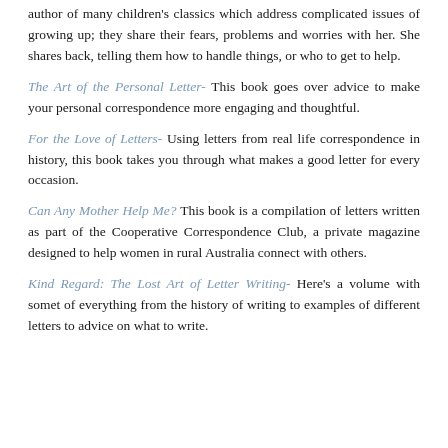author of many children's classics which address complicated issues of growing up; they share their fears, problems and worries with her. She shares back, telling them how to handle things, or who to get to help.
The Art of the Personal Letter- This book goes over advice to make your personal correspondence more engaging and thoughtful.
For the Love of Letters- Using letters from real life correspondence in history, this book takes you through what makes a good letter for every occasion.
Can Any Mother Help Me? This book is a compilation of letters written as part of the Cooperative Correspondence Club, a private magazine designed to help women in rural Australia connect with others.
Kind Regard: The Lost Art of Letter Writing- Here's a volume with somet of everything from the history of writing to examples of different letters to advice on what to write.